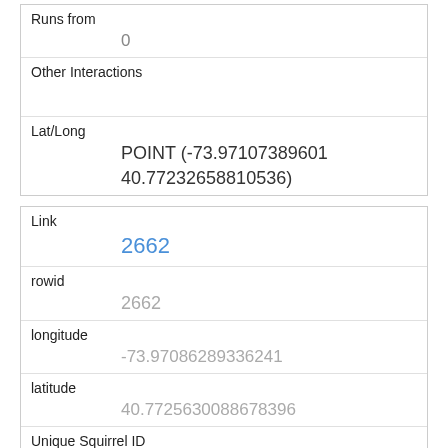| Runs from | 0 |
| Other Interactions |  |
| Lat/Long | POINT (-73.97107389601 40.77232658810536) |
| Link | 2662 |
| rowid | 2662 |
| longitude | -73.97086289336241 |
| latitude | 40.7725630088678396 |
| Unique Squirrel ID | 10F-PM-1019-08 |
| Hectare | 10F |
| Shift | PM |